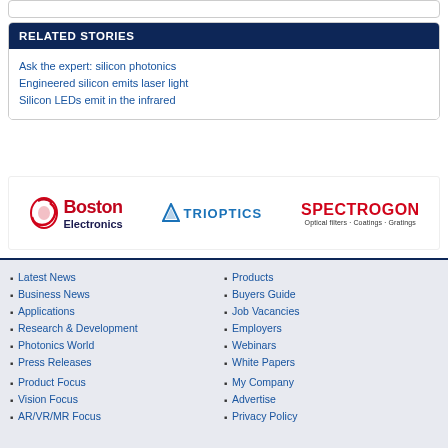RELATED STORIES
Ask the expert: silicon photonics
Engineered silicon emits laser light
Silicon LEDs emit in the infrared
[Figure (logo): Boston Electronics logo, TRIOPTICS logo, SPECTROGON logo]
Latest News
Business News
Applications
Research & Development
Photonics World
Press Releases
Product Focus
Vision Focus
AR/VR/MR Focus
Products
Buyers Guide
Job Vacancies
Employers
Webinars
White Papers
My Company
Advertise
Privacy Policy